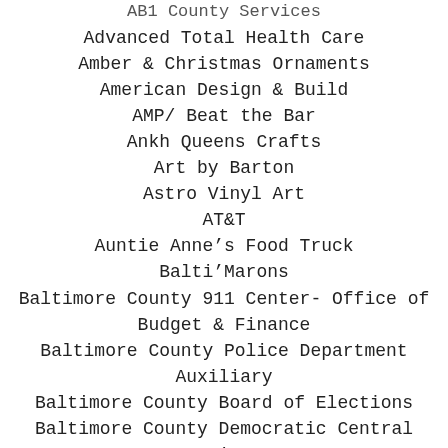AB1 County Services
Advanced Total Health Care
Amber & Christmas Ornaments
American Design & Build
AMP/ Beat the Bar
Ankh Queens Crafts
Art by Barton
Astro Vinyl Art
AT&T
Auntie Anne's Food Truck
Balti'Marons
Baltimore County 911 Center- Office of Budget & Finance
Baltimore County Police Department Auxiliary
Baltimore County Board of Elections
Baltimore County Democratic Central Committee
Baltimore County Dept of Aging
Baltimore County Health & Human Services
Baltimore County Police Department
Baltimore County Sheriff's Office